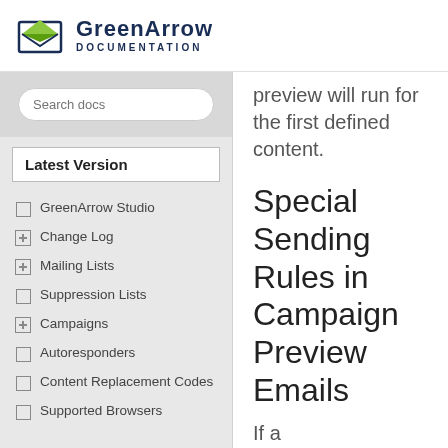GreenArrow DOCUMENTATION
Search docs
Latest Version
GreenArrow Studio
Change Log
Mailing Lists
Suppression Lists
Campaigns
Autoresponders
Content Replacement Codes
Supported Browsers
preview will run for the first defined content.
Special Sending Rules in Campaign Preview Emails
If a